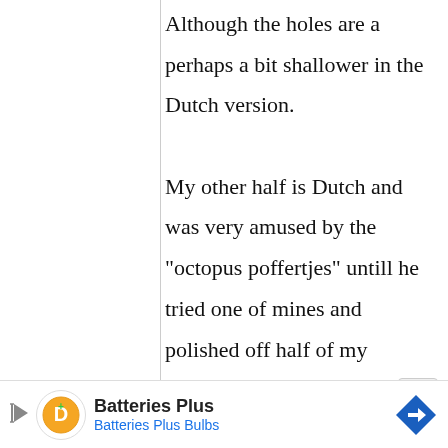Although the holes are a perhaps a bit shallower in the Dutch version. My other half is Dutch and was very amused by the "octopus poffertjes" untill he tried one of mines and polished off half of my portion plus a new one I sent him to buy ;-)
[Figure (other): Advertisement banner for Batteries Plus / Batteries Plus Bulbs with orange logo and blue navigation arrow icon]